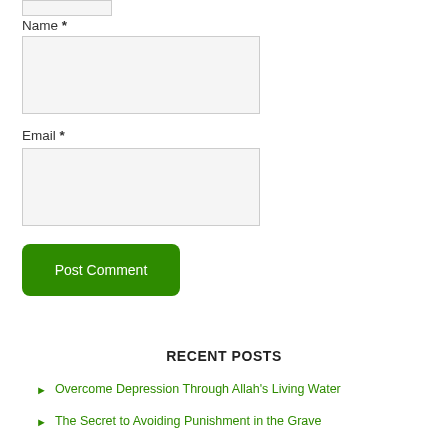Name *
Email *
Post Comment
RECENT POSTS
Overcome Depression Through Allah's Living Water
The Secret to Avoiding Punishment in the Grave